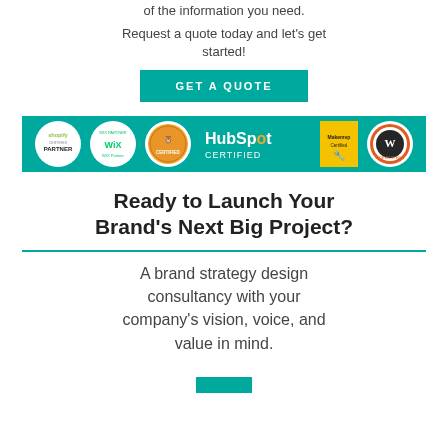of the information you need.
Request a quote today and let's get started!
GET A QUOTE
[Figure (logo): Teal banner with partner/certified badges: Shopify Partner, WIX Partner, HootSuite Certified, HubSpot Certified, Makemvp Certified, WordPress Certified Developer]
Ready to Launch Your Brand's Next Big Project?
A brand strategy design consultancy with your company's vision, voice, and value in mind.